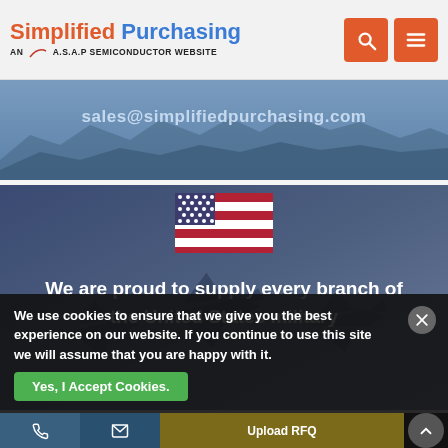Simplified Purchasing — AN A.S.A.P SEMICONDUCTOR WEBSITE
[Figure (screenshot): Website banner showing email address sales@simplifiedpurchasing.com over a blue-grey mountain landscape background]
[Figure (screenshot): Website banner with US flag icon and text 'We are proud to supply every branch of the United States military' over a blue-tinted military aircraft background]
We use cookies to ensure that we give you the best experience on our website. If you continue to use this site we will assume that you are happy with it.
Yes, I Accept Cookies.
Upload RFQ